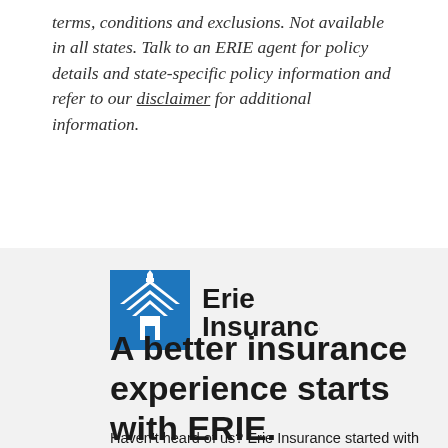terms, conditions and exclusions. Not available in all states. Talk to an ERIE agent for policy details and state-specific policy information and refer to our disclaimer for additional information.
[Figure (logo): Erie Insurance logo — blue square with white building/chevron icon, next to black text reading 'Erie Insurance' with registered trademark symbol]
A better insurance experience starts with ERIE.
Haven't heard of us? Erie Insurance started with